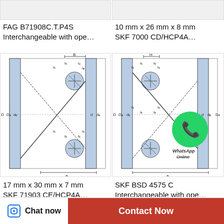FAG B71908C.T.P4S Interchangeable with ope…
10 mm x 26 mm x 8 mm SKF 7000 CD/HCP4A…
[Figure (engineering-diagram): Cross-section schematic of angular contact ball bearing with dimension labels: B, r2, r4, r1, r3, r1, r1, r2, r2, D, D1, d2, d, d1, a]
[Figure (engineering-diagram): Cross-section schematic of angular contact ball bearing with dimension labels: H, r2, r2, r1, r1, r1, r1, r2, r2, D, D1, d1, d, d2, D2, a, with WhatsApp Online overlay]
17 mm x 30 mm x 7 mm SKF 71903 CE/HCP4A…
SKF BSD 4575 C Interchangeable with ope…
[Figure (engineering-diagram): Partial bearing diagram visible at bottom with dimension label B]
Chat now
Contact Now